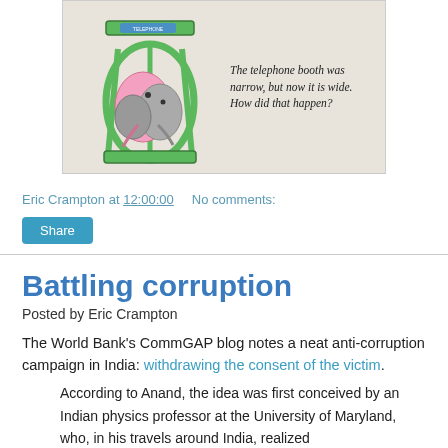[Figure (illustration): Cartoon illustration of elephants squeezed into a green telephone booth with the caption: 'The telephone booth was narrow, but now it is wide. How did that happen?']
Eric Crampton at 12:00:00   No comments:
Share
Battling corruption
Posted by Eric Crampton
The World Bank's CommGAP blog notes a neat anti-corruption campaign in India: withdrawing the consent of the victim.
According to Anand, the idea was first conceived by an Indian physics professor at the University of Maryland, who, in his travels around India, realized